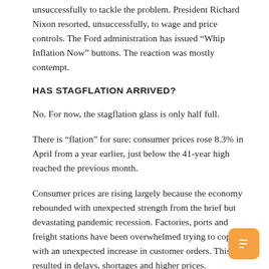unsuccessfully to tackle the problem. President Richard Nixon resorted, unsuccessfully, to wage and price controls. The Ford administration has issued “Whip Inflation Now” buttons. The reaction was mostly contempt.
HAS STAGFLATION ARRIVED?
No. For now, the stagflation glass is only half full.
There is “flation” for sure: consumer prices rose 8.3% in April from a year earlier, just below the 41-year high reached the previous month.
Consumer prices are rising largely because the economy rebounded with unexpected strength from the brief but devastating pandemic recession. Factories, ports and freight stations have been overwhelmed trying to cope with an unexpected increase in customer orders. This resulted in delays, shortages and higher prices.
Critics also blame President Joe Biden’s $1.9 trillion March 2021 stimulus package for overheating an already hot economy. The war